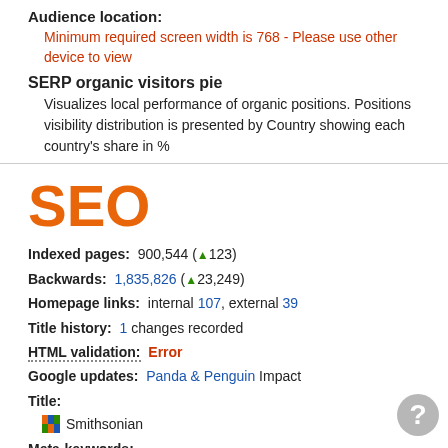Audience location:
Minimum required screen width is 768 - Please use other device to view
SERP organic visitors pie
Visualizes local performance of organic positions. Positions visibility distribution is presented by Country showing each country's share in %
SEO
Indexed pages: 900,544 (▲123)
Backwards: 1,835,826 (▲23,249)
Homepage links: internal 107, external 39
Title history: 1 changes recorded
HTML validation: Error
Google updates: Panda & Penguin Impact
Title: Smithsonian
Meta-keywords:
Smithsonian Institution washington dc museums imax hope diamond star spangled banner encyclopedia aviation art american history science museum exhibitions world cultures astronomy